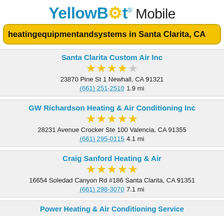YellowBot® Mobile
heatingequipmentandsystems in Santa Clarita, CA
Santa Clarita Custom Air Inc | 4.5 stars | 23870 Pine St 1 Newhall, CA 91321 | (661) 251-2510 | 1.9 mi
GW Richardson Heating & Air Conditioning Inc | 5 stars | 28231 Avenue Crocker Ste 100 Valencia, CA 91355 | (661) 295-0115 | 4.1 mi
Craig Sanford Heating & Air | 5 stars | 16654 Soledad Canyon Rd #186 Santa Clarita, CA 91351 | (661) 298-3070 | 7.1 mi
Power Heating & Air Conditioning Service (partial)